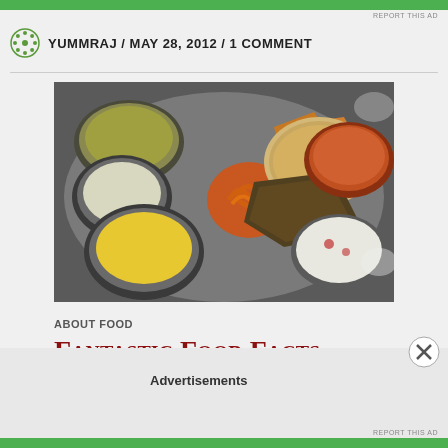REPORT THIS AD
YUMMRAJ / MAY 28, 2012 / 1 COMMENT
[Figure (photo): Indian thali plate with various foods including dal, jalebi, chapati, paratha, curry, raita and chutneys served on a steel plate]
ABOUT FOOD
Fantastic Food Facts
Advertisements
REPORT THIS AD